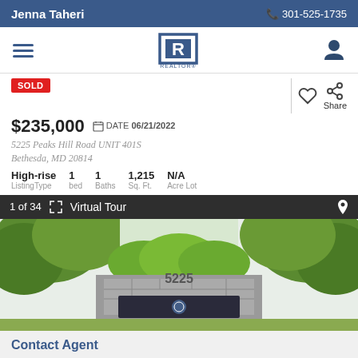Jenna Taheri | 301-525-1735
[Figure (logo): Realtor logo — blue R in a square with 'REALTOR' text below]
SOLD
$235,000  DATE 06/21/2022
5225 Peaks Hill Road UNIT 401S, Bethesda, MD 20814
| ListingType | bed | Baths | Sq. Ft. | Acre Lot |
| --- | --- | --- | --- | --- |
| High-rise | 1 | 1 | 1,215 | N/A |
1 of 34  Virtual Tour
[Figure (photo): Exterior entrance sign reading 5225 surrounded by trees and green shrubs]
Contact Agent